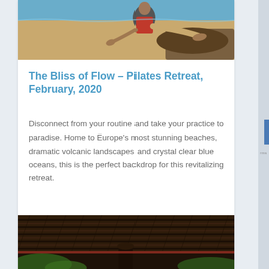[Figure (photo): Partial view of a person sitting on a sandy beach near the ocean, feet visible, wearing red clothing]
The Bliss of Flow – Pilates Retreat, February, 2020
Disconnect from your routine and take your practice to paradise. Home to Europe's most stunning beaches, dramatic volcanic landscapes and crystal clear blue oceans, this is the perfect backdrop for this revitalizing retreat.
[Figure (photo): Interior view of a thatched roof structure with tropical vegetation visible below]